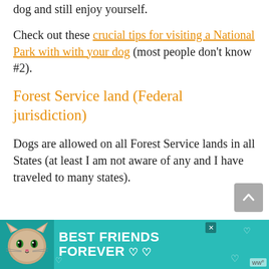dog and still enjoy yourself.

Check out these crucial tips for visiting a National Park with with your dog (most people don't know #2).
Forest Service land (Federal jurisdiction)
Dogs are allowed on all Forest Service lands in all States (at least I am not aware of any and I have traveled to many states).
[Figure (infographic): Advertisement banner with teal background featuring a cat image on the left and text 'BEST FRIENDS FOREVER' in bold white letters with heart decorations]